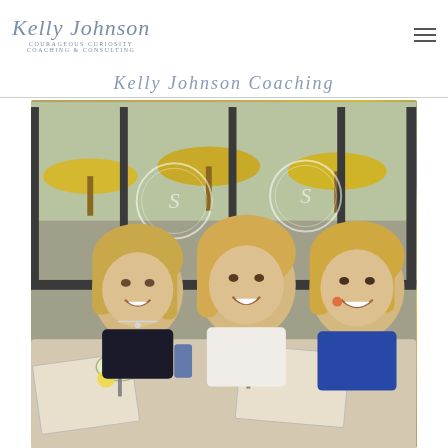[Figure (logo): Kelly Johnson Courageous Curiosity Coaching & Consulting logo in script/italic blue-gray text]
[Figure (other): Hamburger menu icon (three horizontal lines) in top right corner]
Kelly Johnson Coaching
[Figure (photo): Three blonde women sitting at an outdoor restaurant table smiling, with drinks including wine spritzers with lemon slices, blue glasses, and menus on the table. Background shows restaurant glass panels with decorative logo etching and yellow umbrellas outside.]